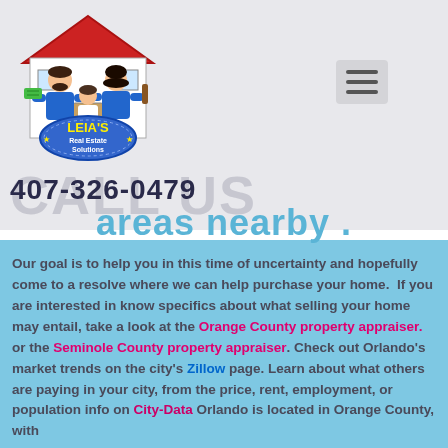[Figure (logo): LEIA'S Real Estate Solutions logo with cartoon family (man, woman, child) in front of a house, man holding cash]
[Figure (other): Hamburger menu button (three horizontal lines) on gray rounded rectangle]
CALL US
407-326-0479
areas nearby .
Our goal is to help you in this time of uncertainty and hopefully come to a resolve where we can help purchase your home.  If you are interested in know specifics about what selling your home may entail, take a look at the Orange County property appraiser. or the Seminole County property appraiser. Check out Orlando's market trends on the city's Zillow page. Learn about what others are paying in your city, from the price, rent, employment, or population info on City-Data Orlando is located in Orange County, with